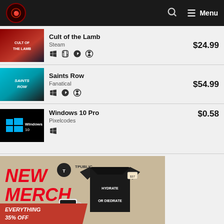Menu
[Figure (screenshot): Cult of the Lamb game cover thumbnail]
Cult of the Lamb
Steam
$24.99
[Figure (screenshot): Saints Row game cover thumbnail]
Saints Row
Fanatical
$54.99
[Figure (screenshot): Windows 10 Pro logo thumbnail]
Windows 10 Pro
Pixelcodes
$0.58
[Figure (illustration): New Merch advertisement banner: NEW MERCH, EVERYTHING 35% OFF, showing t-shirts and mug with dinosaur hydrate or diedrate design]